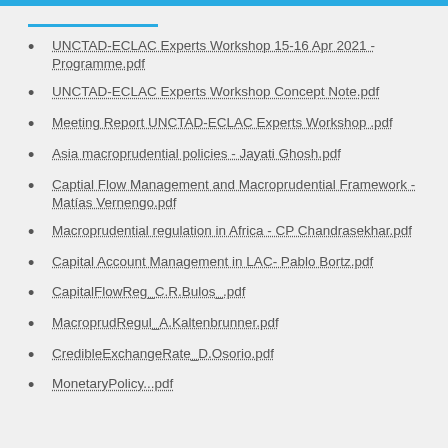UNCTAD-ECLAC Experts Workshop 15-16 Apr 2021 - Programme.pdf
UNCTAD-ECLAC Experts Workshop Concept Note.pdf
Meeting Report UNCTAD-ECLAC Experts Workshop .pdf
Asia macroprudential policies - Jayati Ghosh.pdf
Captial Flow Management and Macroprudential Framework - Matías Vernengo.pdf
Macroprudential regulation in Africa - CP Chandrasekhar.pdf
Capital Account Management in LAC- Pablo Bortz.pdf
CapitalFlowReg_C.R.Bulos_.pdf
MacroprudRegul_A.Kaltenbrunner.pdf
CredibleExchangeRate_D.Osorio.pdf
MonetaryPolicy...pdf